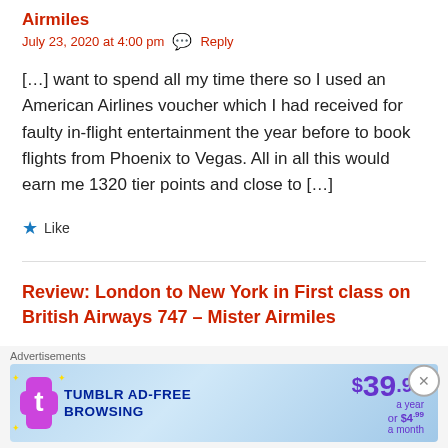Airmiles
July 23, 2020 at 4:00 pm  💬 Reply
[…] want to spend all my time there so I used an American Airlines voucher which I had received for faulty in-flight entertainment the year before to book flights from Phoenix to Vegas. All in all this would earn me 1320 tier points and close to […]
★ Like
Review: London to New York in First class on British Airways 747 – Mister Airmiles
[Figure (screenshot): Tumblr Ad-Free Browsing advertisement banner: $39.99 a year or $4.99 a month]